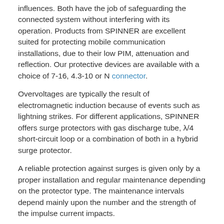influences. Both have the job of safeguarding the connected system without interfering with its operation. Products from SPINNER are excellent suited for protecting mobile communication installations, due to their low PIM, attenuation and reflection. Our protective devices are available with a choice of 7-16, 4.3-10 or N connector.
Overvoltages are typically the result of electromagnetic induction because of events such as lightning strikes. For different applications, SPINNER offers surge protectors with gas discharge tube, λ/4 short-circuit loop or a combination of both in a hybrid surge protector.
A reliable protection against surges is given only by a proper installation and regular maintenance depending on the protector type. The maintenance intervals depend mainly upon the number and the strength of the impulse current impacts.
Surge Protectors with gas discharge arrestor can be used for all applications in the frequency range of 0 to 2.5 GHz. The RF power rating is limited by the spark over voltage of the discharge arrestor.
Type II – with quarter wavelength stub. This kind of surge protector...